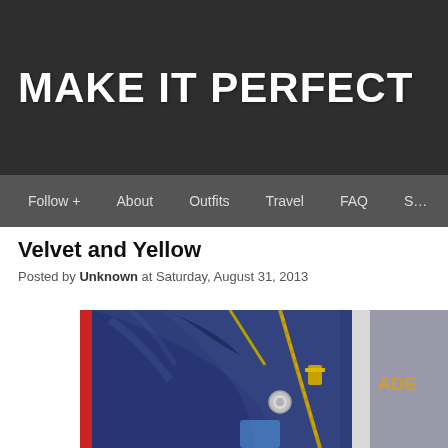MAKE IT PERFECT
Follow +   About   Outfits   Travel   FAQ   S…
Velvet and Yellow
Posted by Unknown at Saturday, August 31, 2013
[Figure (photo): Close-up photo of a person wearing a navy blue velvet biker jacket with gold zipper details and a silver snap button, with a grey graphic t-shirt visible underneath.]